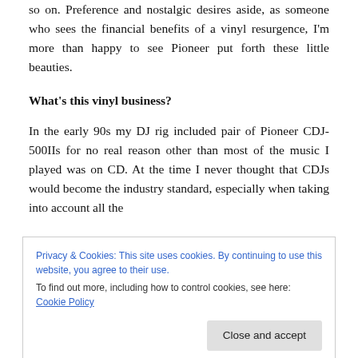so on. Preference and nostalgic desires aside, as someone who sees the financial benefits of a vinyl resurgence, I'm more than happy to see Pioneer put forth these little beauties.
What's this vinyl business?
In the early 90s my DJ rig included pair of Pioneer CDJ-500IIs for no real reason other than most of the music I played was on CD. At the time I never thought that CDJs would become the industry standard, especially when taking into account all the
Privacy & Cookies: This site uses cookies. By continuing to use this website, you agree to their use.
To find out more, including how to control cookies, see here: Cookie Policy